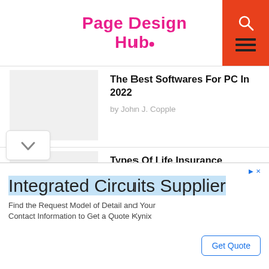Page Design Hub
The Best Softwares For PC In 2022
by John J. Copple
Types Of Life Insurance Policies – Which Is Right For You?
by John J. Copple
Why Learn WordPress and Some Tips on Getting Started
by John J. Copple
[Figure (infographic): Advertisement banner for Integrated Circuits Supplier with Get Quote button]